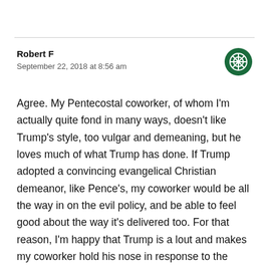Robert F
September 22, 2018 at 8:56 am
Agree. My Pentecostal coworker, of whom I'm actually quite fond in many ways, doesn't like Trump's style, too vulgar and demeaning, but he loves much of what Trump has done. If Trump adopted a convincing evangelical Christian demeanor, like Pence's, my coworker would be all the way in on the evil policy, and be able to feel good about the way it's delivered too. For that reason, I'm happy that Trump is a lout and makes my coworker hold his nose in response to the demeaning, nasty, vulgar, cruel public proclamations, mostly delivered by tweet and in campaign rallies. He's your dog, you let him